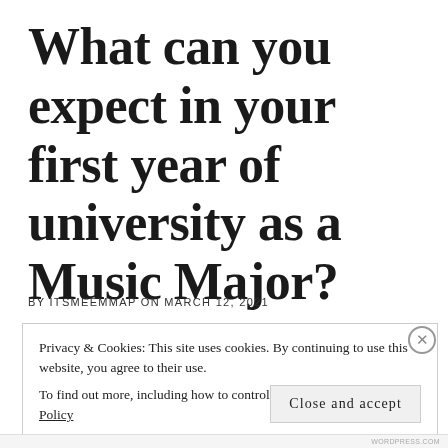What can you expect in your first year of university as a Music Major?
BY ITSMEEMMAP ON MARCH 12, 2021
Privacy & Cookies: This site uses cookies. By continuing to use this website, you agree to their use.
To find out more, including how to control cookies, see here: Cookie Policy